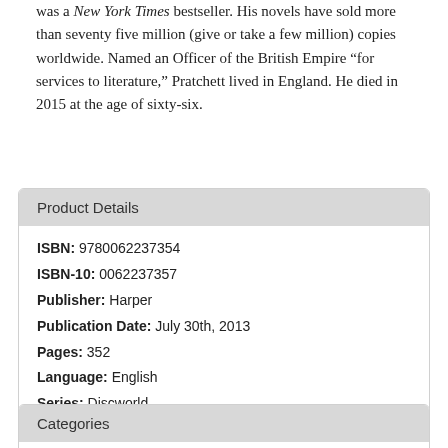was a New York Times bestseller. His novels have sold more than seventy five million (give or take a few million) copies worldwide. Named an Officer of the British Empire “for services to literature,” Pratchett lived in England. He died in 2015 at the age of sixty-six.
Product Details
| ISBN: | 9780062237354 |
| ISBN-10: | 0062237357 |
| Publisher: | Harper |
| Publication Date: | July 30th, 2013 |
| Pages: | 352 |
| Language: | English |
| Series: | Discworld |
Categories
Fiction / Fantasy / Action & Adventure